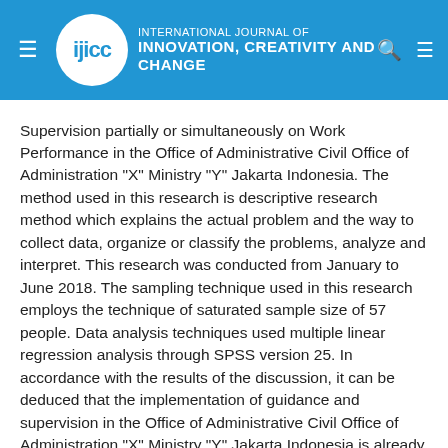INTERNATIONAL JOURNAL OF INNOVATION, CREATIVITY AND CHANGE
Supervision partially or simultaneously on Work Performance in the Office of Administrative Civil Office of Administration "X" Ministry "Y" Jakarta Indonesia. The method used in this research is descriptive research method which explains the actual problem and the way to collect data, organize or classify the problems, analyze and interpret. This research was conducted from January to June 2018. The sampling technique used in this research employs the technique of saturated sample size of 57 people. Data analysis techniques used multiple linear regression analysis through SPSS version 25. In accordance with the results of the discussion, it can be deduced that the implementation of guidance and supervision in the Office of Administrative Civil Office of Administration "X" Ministry "Y" Jakarta Indonesia is already well underway. This conclusion is based on regression analysis of significant influence by variable partial guidance and supervision of the employees working on a degree preatasi alpha error of 0.10. Simultaneously is it significant that both these variables